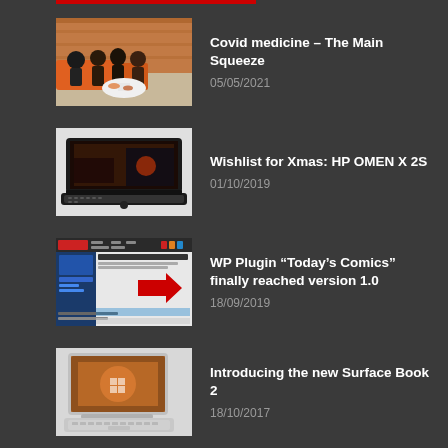Covid medicine – The Main Squeeze
05/05/2021
Wishlist for Xmas: HP OMEN X 2S
01/10/2019
WP Plugin “Today’s Comics” finally reached version 1.0
18/09/2019
Introducing the new Surface Book 2
18/10/2017